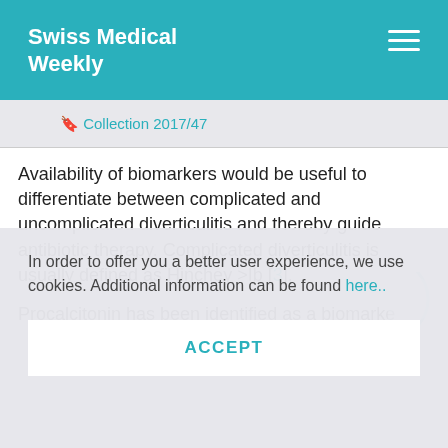Swiss Medical Weekly
🔖 Collection 2017/47
Availability of biomarkers would be useful to differentiate between complicated and uncomplicated diverticulitis and thereby guide antibiotic therapy. Complicated diverticulitis is usually defined as Hinchey >Ib [3].
Procalcitonin has been identified as a biomarke
In order to offer you a better user experience, we use cookies. Additional information can be found here..
ACCEPT